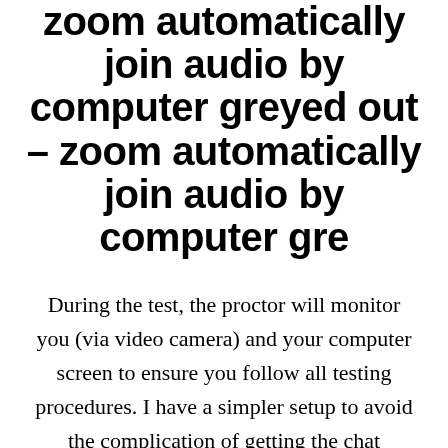Zoom automatically join audio by computer greyed out – zoom automatically join audio by computer gre
During the test, the proctor will monitor you (via video camera) and your computer screen to ensure you follow all testing procedures. I have a simpler setup to avoid the complication of getting the chat working on